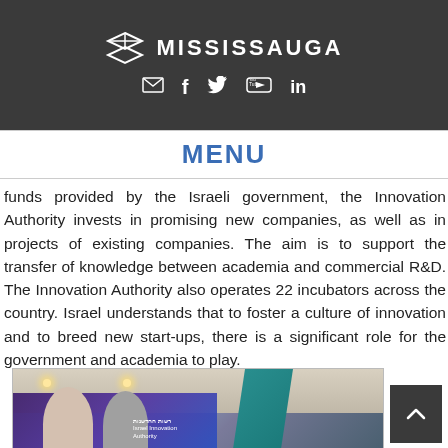MISSISSAUGA
funds provided by the Israeli government, the Innovation Authority invests in promising new companies, as well as in projects of existing companies. The aim is to support the transfer of knowledge between academia and commercial R&D. The Innovation Authority also operates 22 incubators across the country. Israel understands that to foster a culture of innovation and to breed new start-ups, there is a significant role for the government and academia to play.
MENU
[Figure (photo): Two people standing in front of Israel Innovation Authority display/backdrop in a modern room with teal architectural elements]